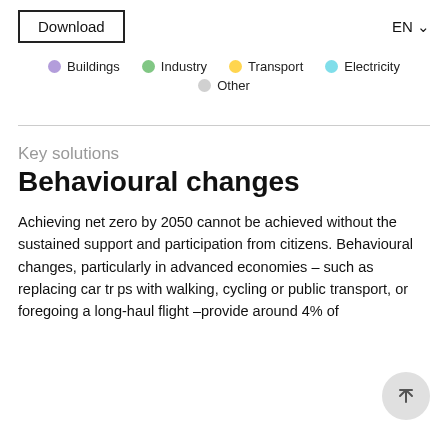Download    EN
Buildings  Industry  Transport  Electricity  Other
Key solutions
Behavioural changes
Achieving net zero by 2050 cannot be achieved without the sustained support and participation from citizens. Behavioural changes, particularly in advanced economies – such as replacing car trips with walking, cycling or public transport, or foregoing a long-haul flight –provide around 4% of